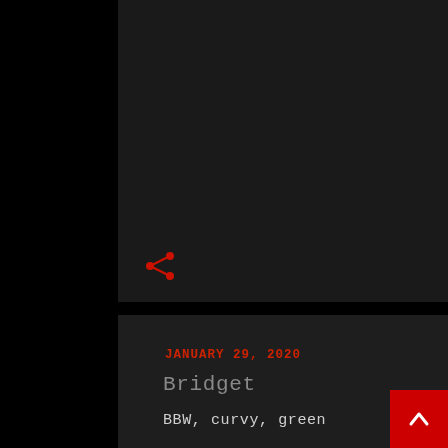olive skin. Nadia will fulfil all your exotic fantasies, with a seductive passionate service that will leave you begging for more.
[Figure (other): Red share icon (less-than symbol styled as share button)]
JANUARY 29, 2020
Bridget
BBW, curvy, green